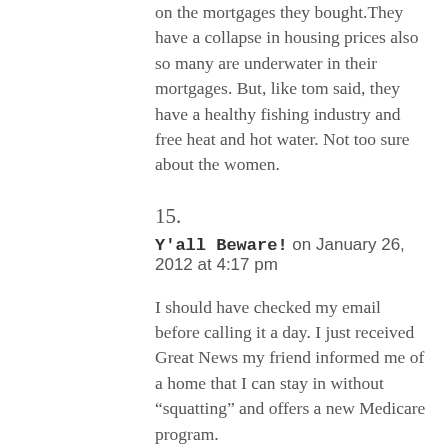on the mortgages they bought.They have a collapse in housing prices also so many are underwater in their mortgages. But, like tom said, they have a healthy fishing industry and free heat and hot water. Not too sure about the women.
15.
Y'all Beware! on January 26, 2012 at 4:17 pm
I should have checked my email before calling it a day. I just received Great News my friend informed me of a home that I can stay in without “squatting” and offers a new Medicare program.
Let’s say you’re a sick senior citizen and the government says there is no nursing home available for you. So what do you do?
This plan gives anyone 65 years or older a gun and 4 bullets. You are allowed to shoot four Politicians. Of